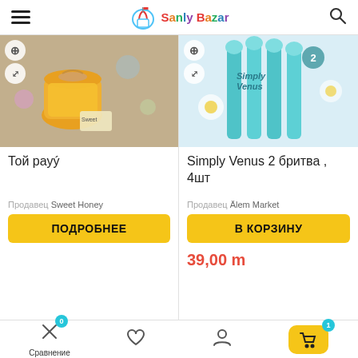Sanly Bazar
[Figure (photo): Product photo of honey gift jar with ribbon and flowers]
Той рауý
Продавец Sweet Honey
ПОДРОБНЕЕ
[Figure (photo): Product photo of Simply Venus 2 razor pack (4 razors)]
Simply Venus 2 бритва , 4шт
Продавец Älem Market
В КОРЗИНУ
39,00 m
Сравнение